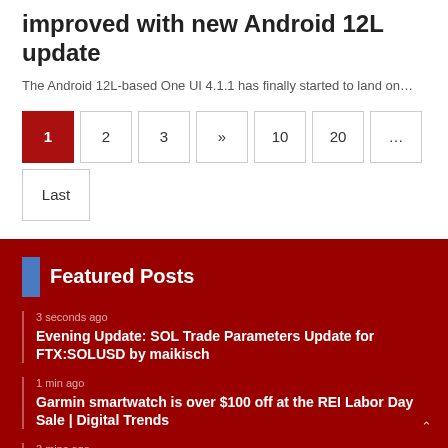improved with new Android 12L update
The Android 12L-based One UI 4.1.1 has finally started to land on…
Featured Posts
3 seconds ago — Evening Update: SOL Trade Parameters Update for FTX:SOLUSD by maikisch
1 min ago — Garmin smartwatch is over $100 off at the REI Labor Day Sale | Digital Trends
3 mins ago — Pagani C10 Teaser Video Leaves Much To The Imagination
6 mins ago